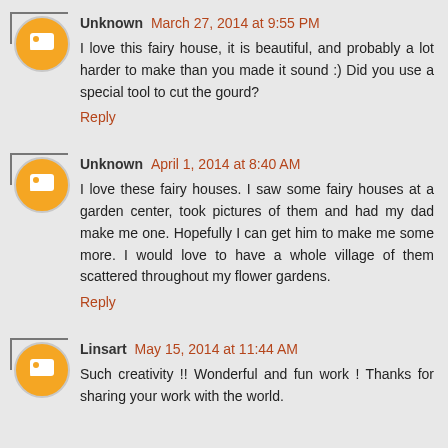Unknown March 27, 2014 at 9:55 PM
I love this fairy house, it is beautiful, and probably a lot harder to make than you made it sound :) Did you use a special tool to cut the gourd?
Reply
Unknown April 1, 2014 at 8:40 AM
I love these fairy houses. I saw some fairy houses at a garden center, took pictures of them and had my dad make me one. Hopefully I can get him to make me some more. I would love to have a whole village of them scattered throughout my flower gardens.
Reply
Linsart May 15, 2014 at 11:44 AM
Such creativity !! Wonderful and fun work ! Thanks for sharing your work with the world.